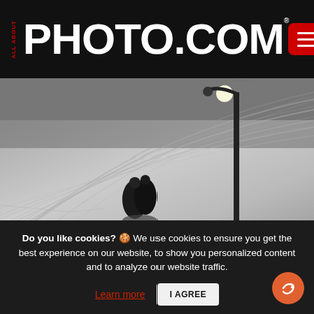ALL ABOUT PHOTO.COM
[Figure (photo): Black and white photograph of two people embracing in a snowy landscape at night, with arc-shaped tire tracks in the snow and a lit street lamp casting light and shadow across the scene.]
Do you like cookies? 🍪 We use cookies to ensure you get the best experience on our website, to show you personalized content and to analyze our website traffic.
Learn more  |  I AGREE